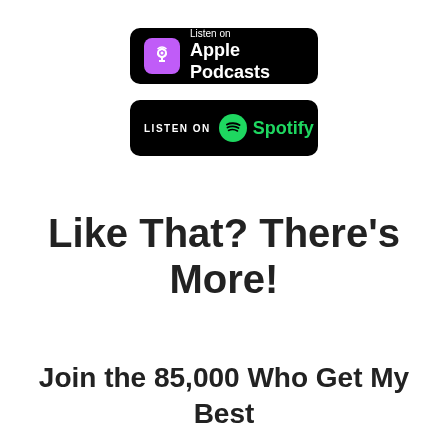[Figure (logo): Apple Podcasts badge - black rounded rectangle with purple icon and white text 'Listen on Apple Podcasts']
[Figure (logo): Spotify badge - black rounded rectangle with white 'LISTEN ON' text and green Spotify logo]
Like That? There's More!
Join the 85,000 Who Get My Best Stuff via Email